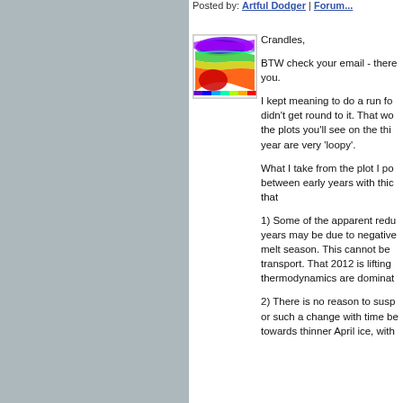Posted by: Artful Dodger | Forum...
[Figure (other): Small thumbnail image showing a colorful thermal/sea-ice plot with rainbow color scale (blue, green, yellow, orange, red gradient patterns)]
Crandles,

BTW check your email - there... you.

I kept meaning to do a run fo... didn't get round to it. That wo... the plots you'll see on the thi... year are very 'loopy'.

What I take from the plot I po... between early years with thic... that

1) Some of the apparent redu... years may be due to negative... melt season. This cannot be ... transport. That 2012 is lifting ... thermodynamics are dominat...

2) There is no reason to susp... or such a change with time be... towards thinner April ice, with...